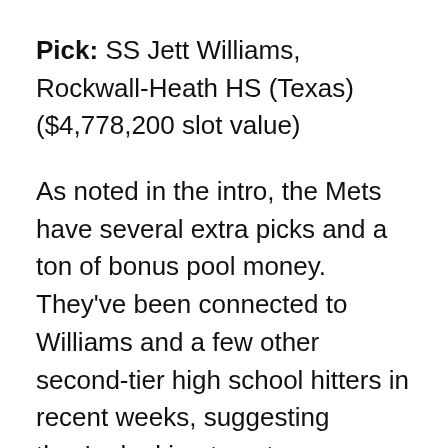Pick: SS Jett Williams, Rockwall-Heath HS (Texas) ($4,778,200 slot value)
As noted in the intro, the Mets have several extra picks and a ton of bonus pool money. They've been connected to Williams and a few other second-tier high school hitters in recent weeks, suggesting they're looking to cut an underslot deal here so they can go big later on. That's standard